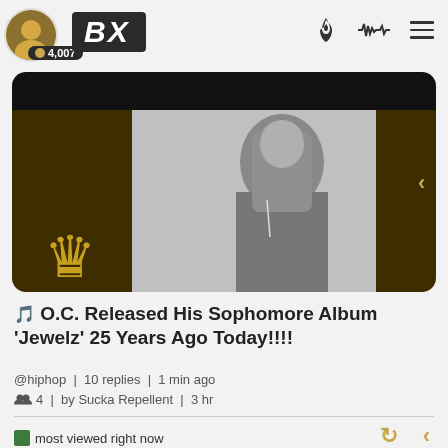BX | 4,007
[Figure (photo): Article header image showing a Black male rapper in black and white, leaning forward, with a gold crown logo overlay on dark olive/brown background]
🎵 O.C. Released His Sophomore Album 'Jewelz' 25 Years Ago Today!!!!
@hiphop | 10 replies | 1 min ago
👥 4 | by Sucka Repellent | 3 hr
most viewed right now